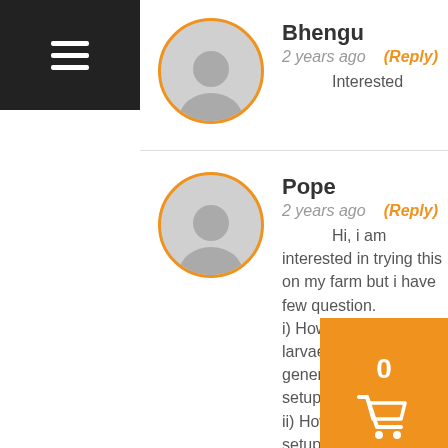[Figure (other): Hamburger menu icon (three horizontal white lines on black background)]
Bhengu
2 years ago
(Reply)
Interested
Pope
2 years ago
(Reply)
Hi, i am interested in trying this on my farm but i have few question.
i) How many kg of larvae can you generate with this setup ?
ii) How can the same setup be scaled or used to generate 50kg of larvae weekly ?
iii) Where and how is the
[Figure (other): Orange shopping cart button with number 0]